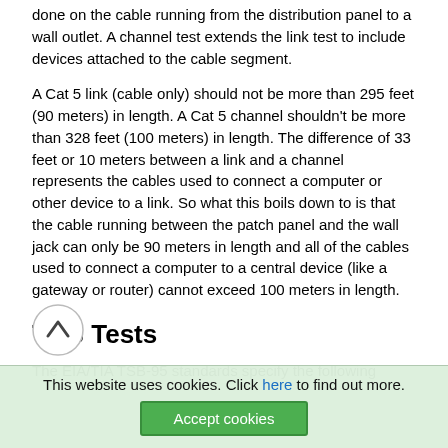done on the cable running from the distribution panel to a wall outlet. A channel test extends the link test to include devices attached to the cable segment.
A Cat 5 link (cable only) should not be more than 295 feet (90 meters) in length. A Cat 5 channel shouldn't be more than 328 feet (100 meters) in length. The difference of 33 feet or 10 meters between a link and a channel represents the cables used to connect a computer or other device to a link. So what this boils down to is that the cable running between the patch panel and the wall jack can only be 90 meters in length and all of the cables used to connect a computer to a central device (like a gateway or router) cannot exceed 100 meters in length.
TSB Tests
The EIA/TIA TSB-95 standards specify the following